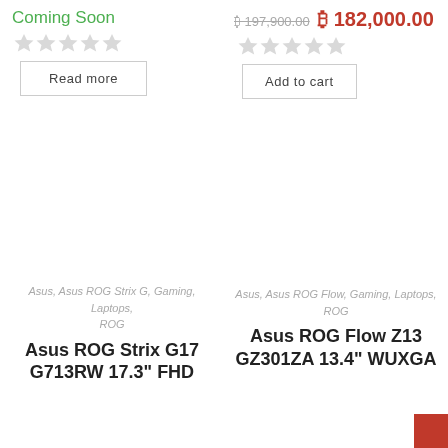Coming Soon
★★★★★ (empty stars, left product)
Read more
₿ 197,900.00  ₿ 182,000.00
★★★★★ (empty stars, right product)
Add to cart
Asus, Asus ROG Strix G, Gaming, Laptops, ROG
Asus, Asus ROG Flow, Gaming, Laptops, ROG
Asus ROG Strix G17 G713RW 17.3" FHD
Asus ROG Flow Z13 GZ301ZA 13.4" WUXGA